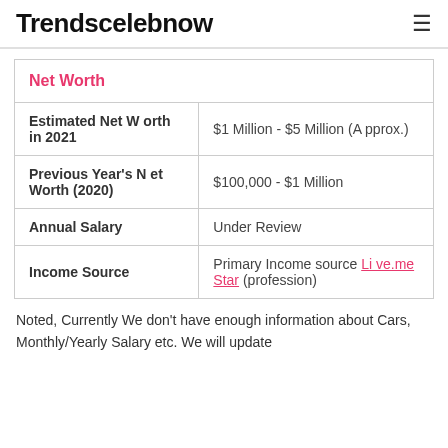Trendscelebnow
| Net Worth |  |
| --- | --- |
| Estimated Net Worth in 2021 | $1 Million - $5 Million (Approx.) |
| Previous Year's Net Worth (2020) | $100,000 - $1 Million |
| Annual Salary | Under Review |
| Income Source | Primary Income source Live.me Star (profession) |
Noted, Currently We don't have enough information about Cars, Monthly/Yearly Salary etc. We will update